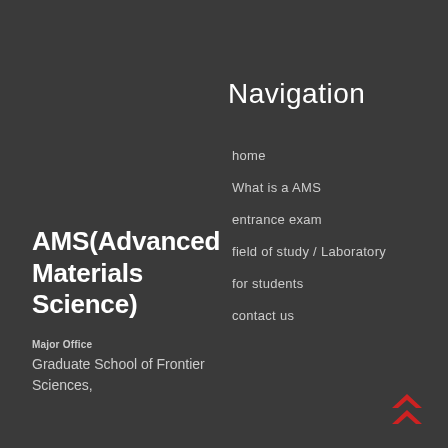Navigation
home
What is a AMS
entrance exam
field of study / Laboratory
for students
contact us
AMS(Advanced Materials Science)
Major Office
Graduate School of Frontier Sciences,